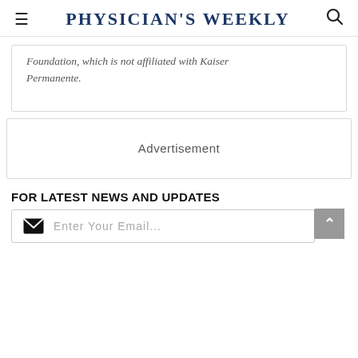Physician's Weekly
Foundation, which is not affiliated with Kaiser Permanente.
[Figure (other): Advertisement placeholder box]
FOR LATEST NEWS AND UPDATES
Enter Your Email...